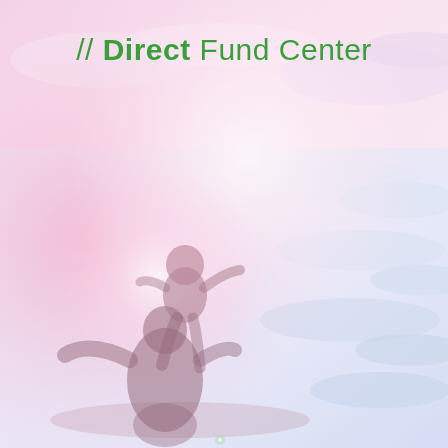[Figure (photo): Soft dreamy background photo showing a silhouette of a parent holding a child on their shoulders from behind, looking up at a pastel pink and lavender sky with light clouds. The image has a warm pink/purple haze with lens flare effects, giving an ethereal, hopeful mood.]
// Direct Fund Center